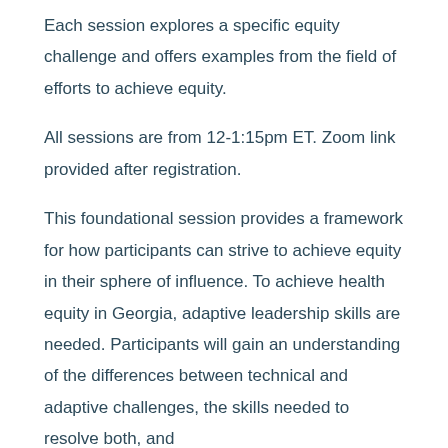Each session explores a specific equity challenge and offers examples from the field of efforts to achieve equity.
All sessions are from 12-1:15pm ET. Zoom link provided after registration.
This foundational session provides a framework for how participants can strive to achieve equity in their sphere of influence. To achieve health equity in Georgia, adaptive leadership skills are needed. Participants will gain an understanding of the differences between technical and adaptive challenges, the skills needed to resolve both, and